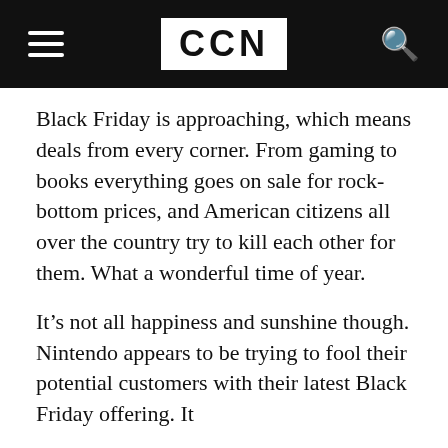CCN
Black Friday is approaching, which means deals from every corner. From gaming to books everything goes on sale for rock-bottom prices, and American citizens all over the country try to kill each other for them. What a wonderful time of year.
It’s not all happiness and sunshine though. Nintendo appears to be trying to fool their potential customers with their latest Black Friday offering. It
By using CCN.com you consent to our  privacy & cookie policy.
Continue